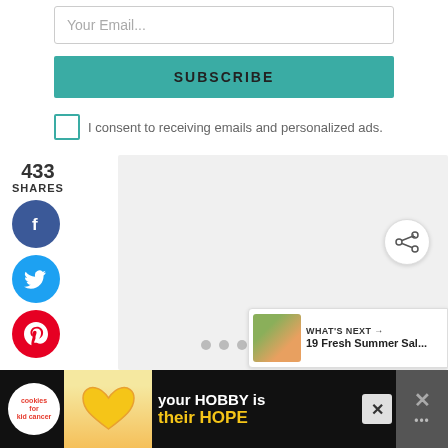Your Email...
SUBSCRIBE
I consent to receiving emails and personalized ads.
433
SHARES
[Figure (illustration): Facebook share button (blue circle with white f icon)]
[Figure (illustration): Twitter share button (blue circle with white bird icon)]
[Figure (illustration): Pinterest share button (red circle with white P icon)]
[Figure (illustration): Share more button (white circle with share icon and plus)]
WHAT'S NEXT →
19 Fresh Summer Sal...
[Figure (photo): Thumbnail of salad recipes book cover]
[Figure (illustration): Advertisement banner: cookies for kid cancer logo, heart-shaped cookie photo, your HOBBY is their HOPE text, close button, and share icon]